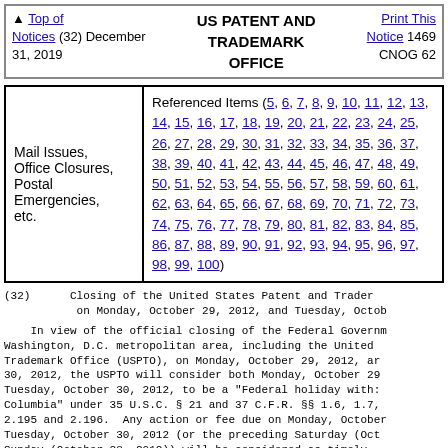▲ Top of Notices (32) December 31, 2019 | US PATENT AND TRADEMARK OFFICE | Print This Notice 1469 CNOG 62
| Category | Referenced Items |
| --- | --- |
| Mail Issues, Office Closures, Postal Emergencies, etc. | Referenced Items (5, 6, 7, 8, 9, 10, 11, 12, 13, 14, 15, 16, 17, 18, 19, 20, 21, 22, 23, 24, 25, 26, 27, 28, 29, 30, 31, 32, 33, 34, 35, 36, 37, 38, 39, 40, 41, 42, 43, 44, 45, 46, 47, 48, 49, 50, 51, 52, 53, 54, 55, 56, 57, 58, 59, 60, 61, 62, 63, 64, 65, 66, 67, 68, 69, 70, 71, 72, 73, 74, 75, 76, 77, 78, 79, 80, 81, 82, 83, 84, 85, 86, 87, 88, 89, 90, 91, 92, 93, 94, 95, 96, 97, 98, 99, 100) |
(32)      Closing of the United States Patent and Trademark Office on Monday, October 29, 2012, and Tuesday, October 30, 2012
In view of the official closing of the Federal Government in the Washington, D.C. metropolitan area, including the United States Patent and Trademark Office (USPTO), on Monday, October 29, 2012, and Tuesday, October 30, 2012, the USPTO will consider both Monday, October 29, 2012, and Tuesday, October 30, 2012, to be a "Federal holiday within the District of Columbia" under 35 U.S.C. § 21 and 37 C.F.R. §§ 1.6, 1.7, 1.8, 1.9, 2.195 and 2.196.  Any action or fee due on Monday, October 29, 2012, or Tuesday, October 30, 2012 (or the preceding Saturday (October 27, 2012) or Sunday (October 28, 2012)) will be considered as timely